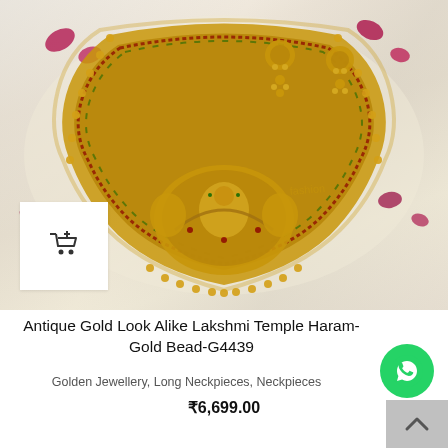[Figure (photo): Antique gold temple haram necklace with earrings displayed on white fabric with pink rose petals. Necklace features Lakshmi motifs, ruby-red and green gem accents, and gold beads. A white square add-to-cart button overlay is in the bottom-left corner.]
Antique Gold Look Alike Lakshmi Temple Haram-Gold Bead-G4439
Golden Jewellery, Long Neckpieces, Neckpieces
₹6,699.00